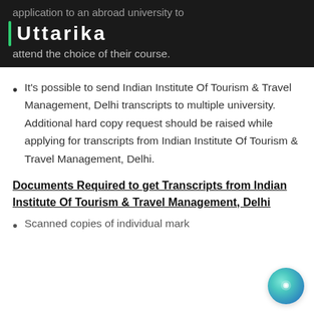application to an abroad university to attend the choice of their course.
Uttarika
It's possible to send Indian Institute Of Tourism & Travel Management, Delhi transcripts to multiple university. Additional hard copy request should be raised while applying for transcripts from Indian Institute Of Tourism & Travel Management, Delhi.
Documents Required to get Transcripts from Indian Institute Of Tourism & Travel Management, Delhi
Scanned copies of individual mark